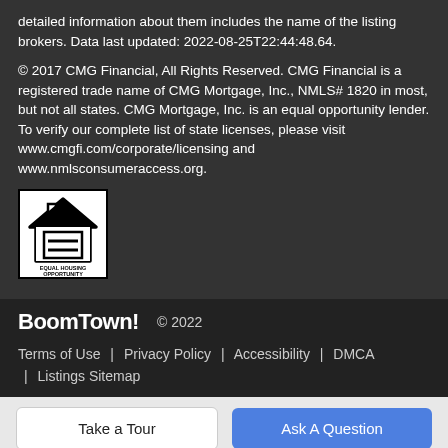detailed information about them includes the name of the listing brokers. Data last updated: 2022-08-25T22:44:48.64.
© 2017 CMG Financial, All Rights Reserved. CMG Financial is a registered trade name of CMG Mortgage, Inc., NMLS# 1820 in most, but not all states. CMG Mortgage, Inc. is an equal opportunity lender. To verify our complete list of state licenses, please visit www.cmgfi.com/corporate/licensing and www.nmlsconsumeraccess.org.
[Figure (logo): Equal Housing Opportunity logo — house outline with equals sign inside, text 'EQUAL HOUSING OPPORTUNITY' below]
BoomTown! © 2022 | Terms of Use | Privacy Policy | Accessibility | DMCA | Listings Sitemap
Take a Tour   Ask A Question